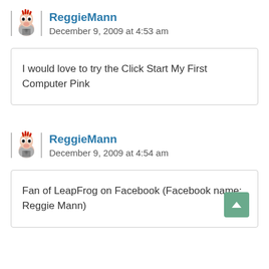ReggieMann
December 9, 2009 at 4:53 am
I would love to try the Click Start My First Computer Pink
ReggieMann
December 9, 2009 at 4:54 am
Fan of LeapFrog on Facebook (Facebook name: Reggie Mann)